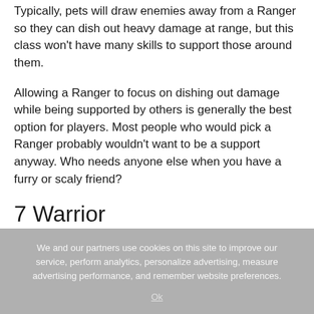Typically, pets will draw enemies away from a Ranger so they can dish out heavy damage at range, but this class won't have many skills to support those around them.
Allowing a Ranger to focus on dishing out damage while being supported by others is generally the best option for players. Most people who would pick a Ranger probably wouldn't want to be a support anyway. Who needs anyone else when you have a furry or scaly friend?
7 Warrior
We and our partners use cookies on this site to improve our service, perform analytics, personalize advertising, measure advertising performance, and remember website preferences.